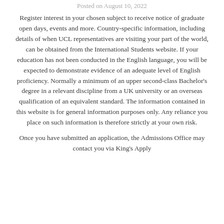Posted on August 10, 2022
Register interest in your chosen subject to receive notice of graduate open days, events and more. Country-specific information, including details of when UCL representatives are visiting your part of the world, can be obtained from the International Students website. If your education has not been conducted in the English language, you will be expected to demonstrate evidence of an adequate level of English proficiency. Normally a minimum of an upper second-class Bachelor's degree in a relevant discipline from a UK university or an overseas qualification of an equivalent standard. The information contained in this website is for general information purposes only. Any reliance you place on such information is therefore strictly at your own risk.
Once you have submitted an application, the Admissions Office may contact you via King's Apply